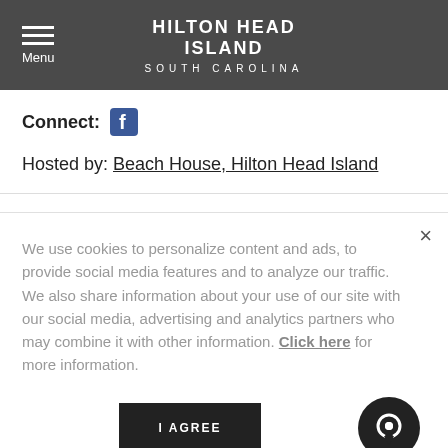HILTON HEAD ISLAND SOUTH CAROLINA
Connect:
Hosted by: Beach House, Hilton Head Island
We use cookies to personalize content and ads, to provide social media features and to analyze our traffic. We also share information about your use of our site with our social media, advertising and analytics partners who may combine it with other information. Click here for more information.
I AGREE